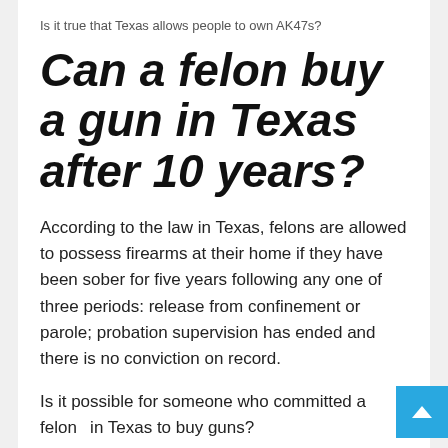Is it true that Texas allows people to own AK47s?
Can a felon buy a gun in Texas after 10 years?
According to the law in Texas, felons are allowed to possess firearms at their home if they have been sober for five years following any one of three periods: release from confinement or parole; probation supervision has ended and there is no conviction on record.
Is it possible for someone who committed a felony in Texas to buy guns?